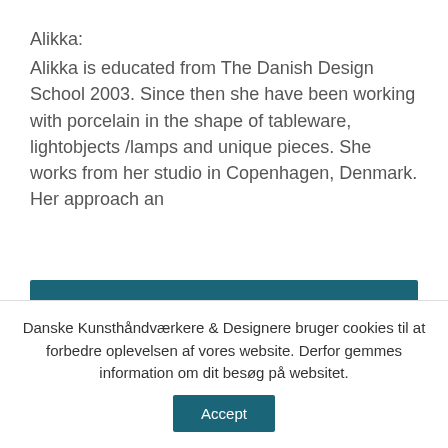Alikka:
Alikka is educated from The Danish Design School 2003. Since then she have been working with porcelain in the shape of tableware, lightobjects /lamps and unique pieces. She works from her studio in Copenhagen, Denmark. Her approach an
[Figure (other): Teal/dark cyan horizontal bar]
Danske Kunsthåndværkere & Designere bruger cookies til at forbedre oplevelsen af vores website. Derfor gemmes information om dit besøg på websitet.